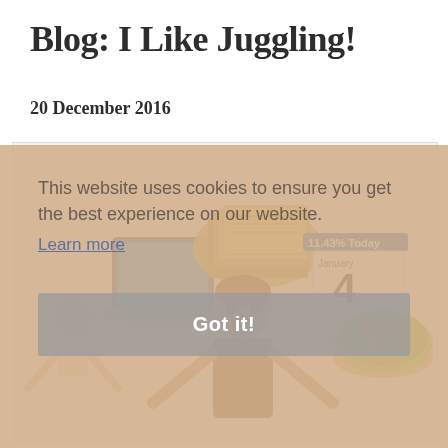Blog: I Like Juggling!
20 December 2016
[Figure (illustration): Illustration showing juggling metaphor: a laptop computer, a stack of books/money, a calendar showing January 4, a person juggling with arms outstretched, a bowl of fruit/salad, and a baby figure — representing life juggling act.]
This website uses cookies to ensure you get the best experience on our website. Learn more
Got it!